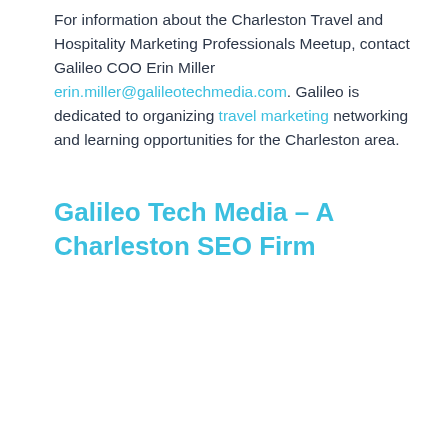For information about the Charleston Travel and Hospitality Marketing Professionals Meetup, contact Galileo COO Erin Miller erin.miller@galileotechmedia.com. Galileo is dedicated to organizing travel marketing networking and learning opportunities for the Charleston area.
Galileo Tech Media – A Charleston SEO Firm